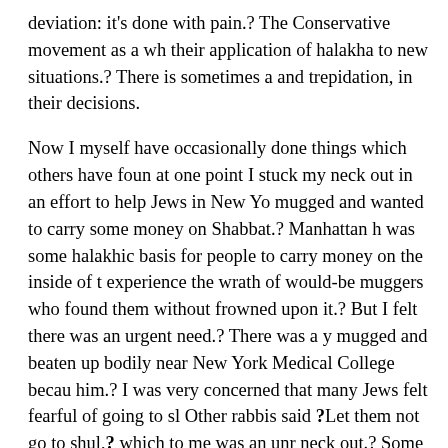deviation: it's done with pain.? The Conservative movement as a wh their application of halakha to new situations.? There is sometimes a and trepidation, in their decisions.
Now I myself have occasionally done things which others have foun at one point I stuck my neck out in an effort to help Jews in New Yo mugged and wanted to carry some money on Shabbat.? Manhattan h was some halakhic basis for people to carry money on the inside of t experience the wrath of would-be muggers who found them without frowned upon it.? But I felt there was an urgent need.? There was a y mugged and beaten up bodily near New York Medical College becau him.? I was very concerned that many Jews felt fearful of going to sl Other rabbis said ?Let them not go to shul,? which to me was an unr neck out.? Some agreed with me, some disagreed.? The point is that for ways in which halakha can be applied to the problems of the pres with a sense of great limitations and trepidation.? My views on the ? part on the dialectic philosophy of Rabbi Joseph P. Soloveitchik.? Ra unlike Hegel who held that a synthesis is derived both logically and